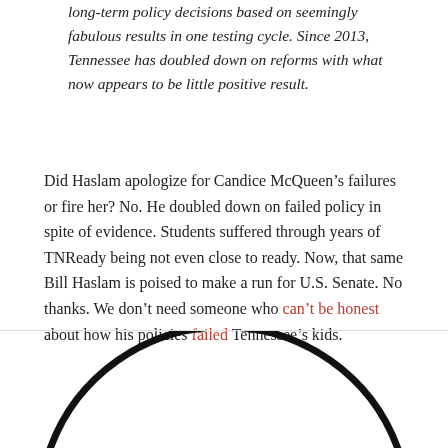long-term policy decisions based on seemingly fabulous results in one testing cycle. Since 2013, Tennessee has doubled down on reforms with what now appears to be little positive result.
Did Haslam apologize for Candice McQueen’s failures or fire her? No. He doubled down on failed policy in spite of evidence. Students suffered through years of TNReady being not even close to ready. Now, that same Bill Haslam is poised to make a run for U.S. Senate. No thanks. We don’t need someone who can’t be honest about how his policies failed Tennessee’s kids.
[Figure (illustration): Bottom portion of a circular shape (arc), black outline on white background, partially cropped at the bottom of the page.]